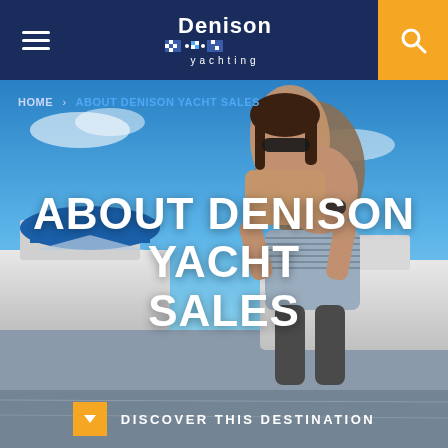Denison Yachting
HOME > ABOUT DENISON YACHT SALES
[Figure (photo): Couple at a marina — woman with sunglasses riding piggyback on a man with sunglasses, yachts and blue sky in background]
ABOUT DENISON YACHT SALES
DISCOVER THIS DESTINATION